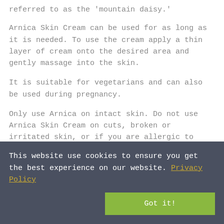referred to as the 'mountain daisy.'
Arnica Skin Cream can be used for as long as it is needed. To use the cream apply a thin layer of cream onto the desired area and gently massage into the skin.
It is suitable for vegetarians and can also be used during pregnancy.
Only use Arnica on intact skin. Do not use Arnica Skin Cream on cuts, broken or irritated skin, or if you are allergic to arnica or any of the other ingredients in
This website use cookies to ensure you get the best experience on our website. Privacy Policy
Got it!